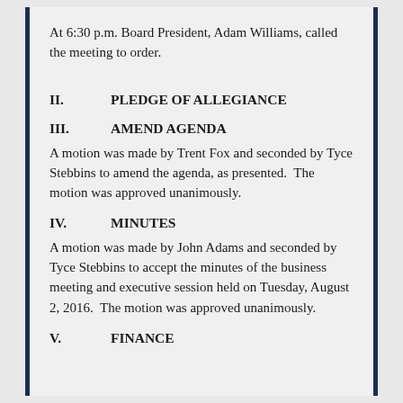At 6:30 p.m. Board President, Adam Williams, called the meeting to order.
II.        PLEDGE OF ALLEGIANCE
III.        AMEND AGENDA
A motion was made by Trent Fox and seconded by Tyce Stebbins to amend the agenda, as presented.  The motion was approved unanimously.
IV.        MINUTES
A motion was made by John Adams and seconded by Tyce Stebbins to accept the minutes of the business meeting and executive session held on Tuesday, August 2, 2016.  The motion was approved unanimously.
V.        FINANCE